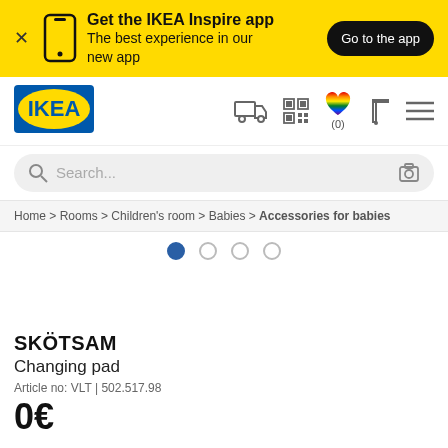[Figure (screenshot): IKEA app promotional banner with yellow background, phone icon, text 'Get the IKEA Inspire app - The best experience in our new app', and a black 'Go to the app' button]
[Figure (logo): IKEA blue and yellow logo]
[Figure (screenshot): Navigation bar with truck icon, QR code icon, rainbow heart with (0), shopping cart icon, and hamburger menu icon]
Search...
Home > Rooms > Children's room > Babies > Accessories for babies
[Figure (screenshot): Carousel with 4 dots, first dot filled blue indicating first slide active]
SKÖTSAM
Changing pad
Article no: VLT | 502.517.98
0€